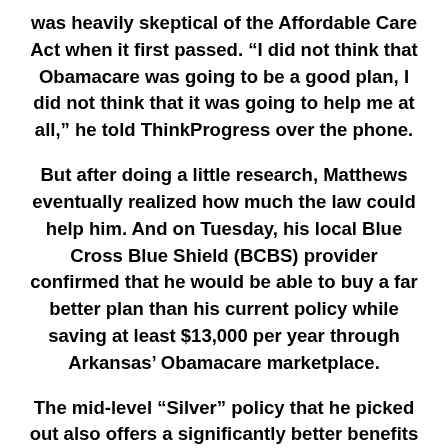was heavily skeptical of the Affordable Care Act when it first passed. “I did not think that Obamacare was going to be a good plan, I did not think that it was going to help me at all,” he told ThinkProgress over the phone.
But after doing a little research, Matthews eventually realized how much the law could help him. And on Tuesday, his local Blue Cross Blue Shield (BCBS) provider confirmed that he would be able to buy a far better plan than his current policy while saving at least $13,000 per year through Arkansas’ Obamacare marketplace.
The mid-level “Silver” policy that he picked out also offers a significantly better benefits package. “It’s a lot better plan,” Matthews said. His old plan was considered to be “Bronze” and had much higher co-pays. Under Obamacare, when Matthews visits a doctor, it will no